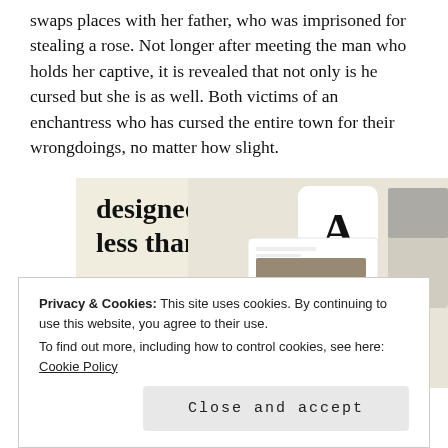swaps places with her father, who was imprisoned for stealing a rose. Not longer after meeting the man who holds her captive, it is revealed that not only is he cursed but she is as well. Both victims of an enchantress who has cursed the entire town for their wrongdoings, no matter how slight.
[Figure (screenshot): Advertisement for website builder showing 'designed sites in less than a week' text with green 'Explore options' button and screenshot of website templates with food photography]
Privacy & Cookies: This site uses cookies. By continuing to use this website, you agree to their use.
To find out more, including how to control cookies, see here: Cookie Policy
Close and accept